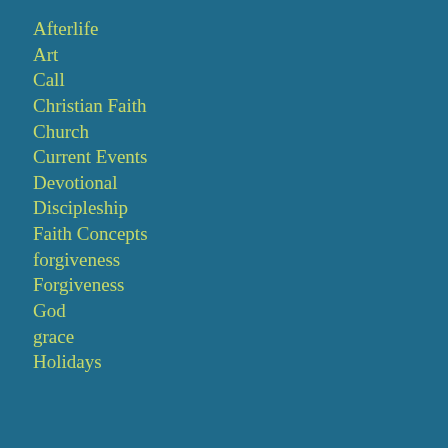Afterlife
Art
Call
Christian Faith
Church
Current Events
Devotional
Discipleship
Faith Concepts
forgiveness
Forgiveness
God
grace
Holidays